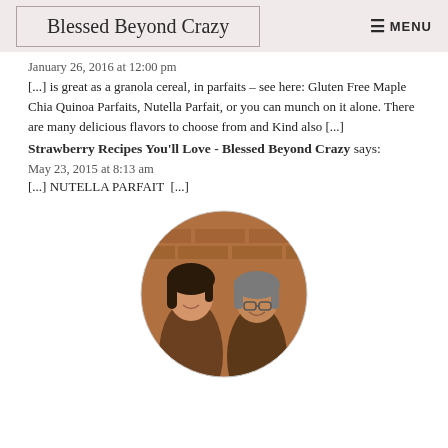Blessed Beyond Crazy  ☰ MENU
January 26, 2016 at 12:00 pm
[...] is great as a granola cereal, in parfaits – see here: Gluten Free Maple Chia Quinoa Parfaits, Nutella Parfait, or you can munch on it alone. There are many delicious flavors to choose from and Kind also [...]
Strawberry Recipes You'll Love - Blessed Beyond Crazy says:
May 23, 2015 at 8:13 am
[...] NUTELLA PARFAIT  [...]
[Figure (photo): Circular photo of two women smiling in front of a brick wall background]